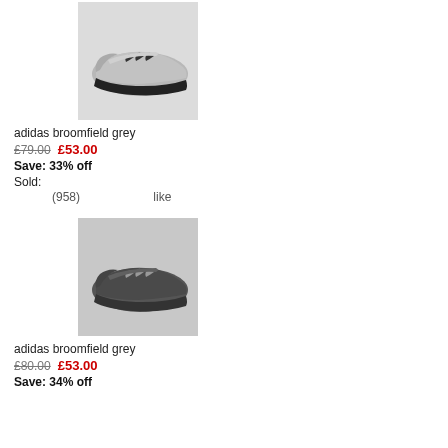[Figure (photo): Adidas Broomfield grey sneaker - light grey suede with dark stripes and black sole, side view on white background]
adidas broomfield grey
£79.00  £53.00
Save: 33% off
Sold:
(958)  like
[Figure (photo): Adidas Broomfield grey sneaker - dark grey/charcoal suede with silver stripes, side view on white background]
adidas broomfield grey
£80.00  £53.00
Save: 34% off